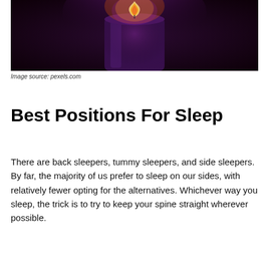[Figure (photo): Close-up photo of a lit purple candle with flame glowing orange-yellow at top, dark background]
Image source: pexels.com
Best Positions For Sleep
There are back sleepers, tummy sleepers, and side sleepers. By far, the majority of us prefer to sleep on our sides, with relatively fewer opting for the alternatives. Whichever way you sleep, the trick is to try to keep your spine straight wherever possible.